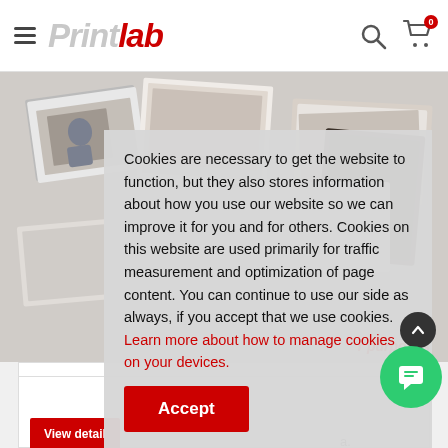Printlab — navigation header with hamburger menu, logo, search icon, cart icon with badge '0'
[Figure (photo): A photo strip showing printed photographs/photo books spread out on a surface. Partially obscured by cookie consent modal.]
r purposes
Cookies are necessary to get the website to function, but they also stores information about how you use our website so we can improve it for you and for others. Cookies on this website are used primarily for traffic measurement and optimization of page content. You can continue to use our side as always, if you accept that we use cookies. Learn more about how to manage cookies on your devices.
Accept
LOMO PH
Get your L
a.
View detail
[Figure (screenshot): Partially visible second product card at bottom of page]